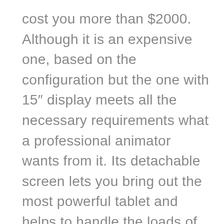cost you more than $2000. Although it is an expensive one, based on the configuration but the one with 15″ display meets all the necessary requirements what a professional animator wants from it. Its detachable screen lets you bring out the most powerful tablet and helps to handle the loads of editing tasks like a pro. Further, its features are too much to talk about, including all the necessary ports like USB Type C and A and SD card slot or you can even connect up to two monitors of 60Hz, hence brings out your personal workstation right on your desk.